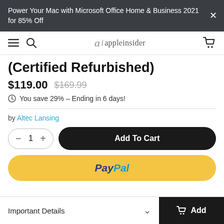Power Your Mac with Microsoft Office Home & Business 2021 for 85% Off
[Figure (screenshot): AppleInsider navigation bar with hamburger menu, search icon, logo, and cart icon]
(Certified Refurbished)
$119.00  $169.99
You save 29% – Ending in 6 days!
by Altec Lansing
Add To Cart
PayPal
Important Details